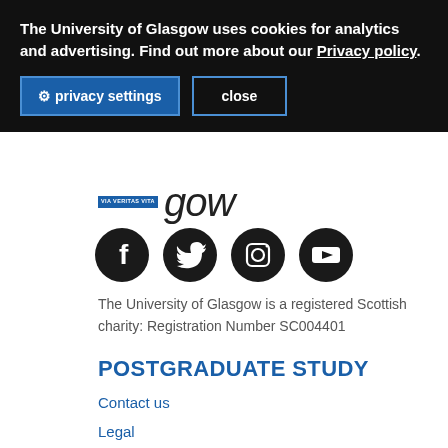The University of Glasgow uses cookies for analytics and advertising. Find out more about our Privacy policy.
privacy settings   close
[Figure (logo): University of Glasgow logo with Via Veritas Vita badge and italic script text]
[Figure (illustration): Four social media icons: Facebook, Twitter, Instagram, YouTube — black circles with white logos]
The University of Glasgow is a registered Scottish charity: Registration Number SC004401
POSTGRADUATE STUDY
Contact us
Legal
Accessibility statement